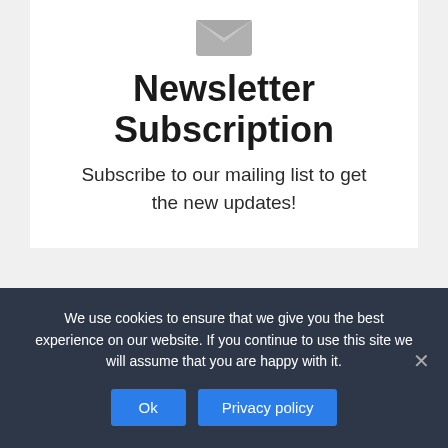[Figure (illustration): Gray envelope icon centered at top of white card section]
Newsletter Subscription
Subscribe to our mailing list to get the new updates!
« Previous Post
We use cookies to ensure that we give you the best experience on our website. If you continue to use this site we will assume that you are happy with it.
Ok   Privacy policy